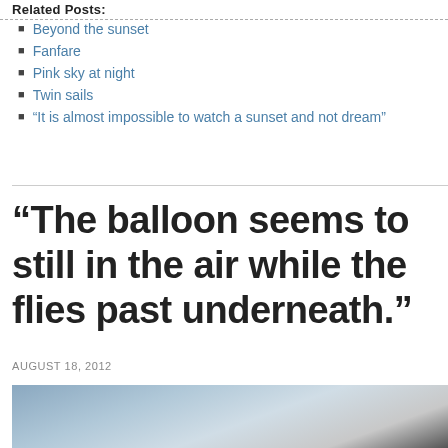Related Posts:
Beyond the sunset
Fanfare
Pink sky at night
Twin sails
“It is almost impossible to watch a sunset and not dream”
“The balloon seems to still in the air while the flies past underneath.”
AUGUST 18, 2012
[Figure (photo): Photograph showing a dark silhouette against a blue-grey sky gradient]